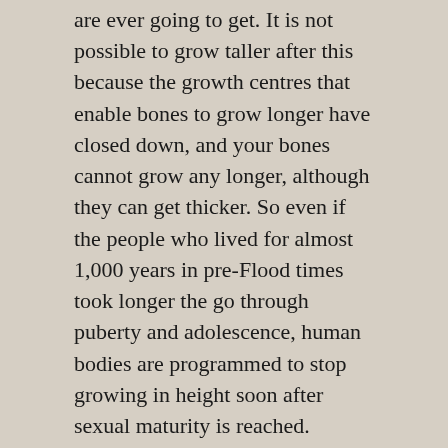are ever going to get. It is not possible to grow taller after this because the growth centres that enable bones to grow longer have closed down, and your bones cannot grow any longer, although they can get thicker. So even if the people who lived for almost 1,000 years in pre-Flood times took longer the go through puberty and adolescence, human bodies are programmed to stop growing in height soon after sexual maturity is reached.
Human beings are designed to not grow in height during their adult lives for good reasons. As the body grows taller the weight-bearing bones, such as those in the legs, must grow stronger. This means they must increase in overall mass, not just length. This makes them heavier, which means they need thicker stronger ligaments to hold them together and larger muscles to move them, which further increases the mass of the body. This increasing weight also puts extra strain on